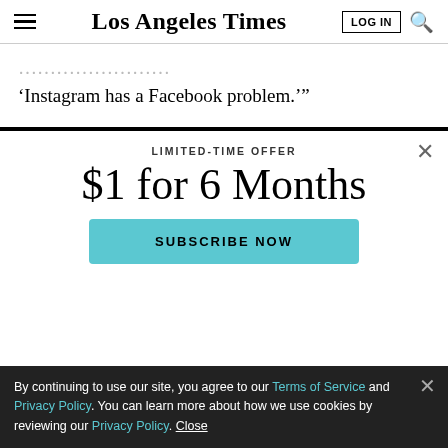Los Angeles Times
'Instagram has a Facebook problem.'"
LIMITED-TIME OFFER
$1 for 6 Months
SUBSCRIBE NOW
By continuing to use our site, you agree to our Terms of Service and Privacy Policy. You can learn more about how we use cookies by reviewing our Privacy Policy. Close